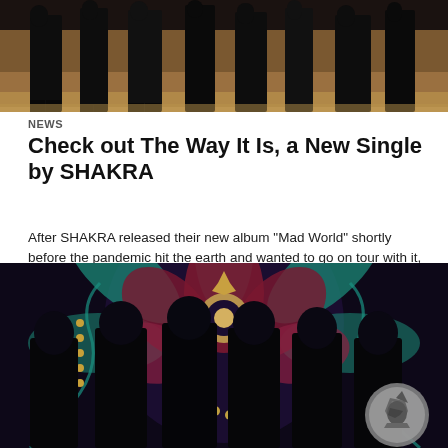[Figure (photo): Band photo showing multiple members dressed in black standing against a sandy/earthy outdoor background, viewed from waist down]
NEWS
Check out The Way It Is, a New Single by SHAKRA
After SHAKRA released their new album "Mad World" shortly before the pandemic hit the earth and wanted to go on tour with it, this had to be cancelled again...
[Figure (photo): Band photo of SHAKRA members in black t-shirts standing in front of a large colorful mandala mural with teal, dark red, and gold colors. A Grammy award logo watermark is visible in the bottom right corner.]